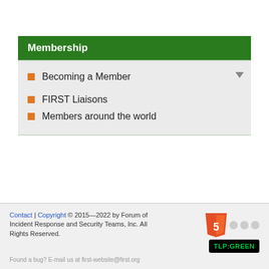Membership
Becoming a Member
FIRST Liaisons
Members around the world
Contact | Copyright © 2015—2022 by Forum of Incident Response and Security Teams, Inc. All Rights Reserved. Found a bug? E-mail us at first-website@first.org